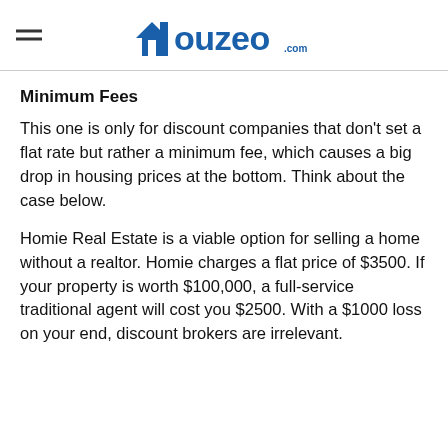Houzeo.com
Minimum Fees
This one is only for discount companies that don't set a flat rate but rather a minimum fee, which causes a big drop in housing prices at the bottom. Think about the case below.
Homie Real Estate is a viable option for selling a home without a realtor. Homie charges a flat price of $3500. If your property is worth $100,000, a full-service traditional agent will cost you $2500. With a $1000 loss on your end, discount brokers are irrelevant.